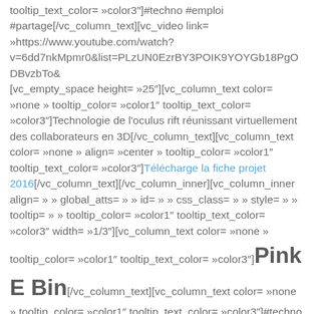tooltip_text_color= »color3″]#techno #emploi #partage[/vc_column_text][vc_video link= »https://www.youtube.com/watch?v=6dd7nkMpmr0&list=PLzUN0EzrBY3POIK9YOYGb18PgODBvzbTo& [vc_empty_space height= »25″][vc_column_text color= »none » tooltip_color= »color1″ tooltip_text_color= »color3″]Technologie de l'oculus rift réunissant virtuellement des collaborateurs en 3D[/vc_column_text][vc_column_text color= »none » align= »center » tooltip_color= »color1″ tooltip_text_color= »color3″]Télécharge la fiche projet 2016[/vc_column_text][/vc_column_inner][vc_column_inner align= » » global_atts= » » id= » » css_class= » » style= » » tooltip= » » tooltip_color= »color1″ tooltip_text_color= »color3″ width= »1/3″][vc_column_text color= »none » tooltip_color= »color1″ tooltip_text_color= »color3″]Pink E Bin[/vc_column_text][vc_column_text color= »none » tooltip_color= »color1″ tooltip_text_color= »color3″]#techno #écologie[/vc_column_text][vc_video